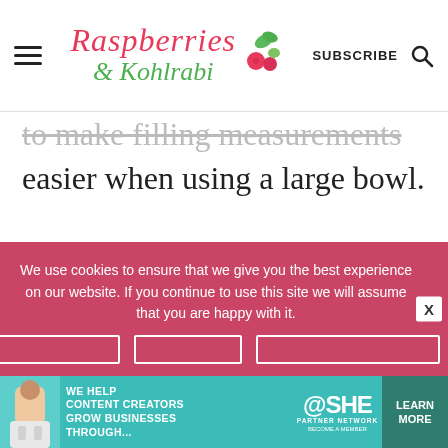Raspberries & Kohlrabi — SUBSCRIBE
to make filling measurements easier when using a large bowl.
Mixing Bowls: These are some of my favorite mixing bowls. [external link]
They come in a huge range of
We use cookies to ensure that we give you the best experience on our website. If you continue to use this site we will assume that you are happy with it.
[Figure (advertisement): SHE Partner Network ad: We help content creators grow businesses through... with Learn More button]